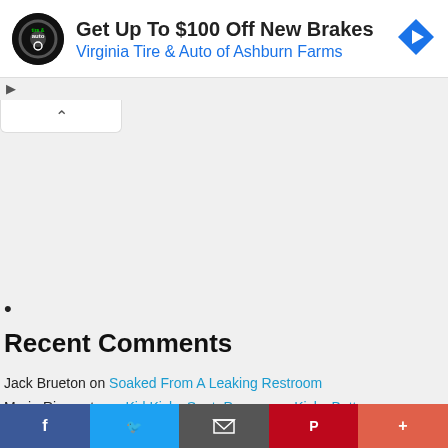[Figure (other): Advertisement banner: Virginia Tire & Auto logo on left, text 'Get Up To $100 Off New Brakes' and 'Virginia Tire & Auto of Ashburn Farms' in center, blue diamond direction icon on right. Play and X controls below left.]
•
Recent Comments
Jack Brueton on Soaked From A Leaking Restroom
Mario Riservato on Kid Kicks Seat, Passenger Kicks Butt
ave on The Brat
[Figure (other): Social share bar at bottom with Facebook, Twitter, email, Pinterest, and more (+) buttons]